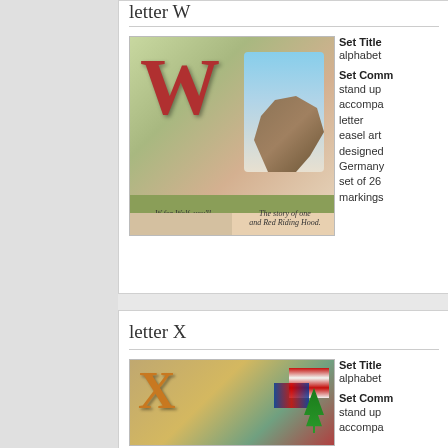letter W
[Figure (photo): Vintage alphabet card showing a large red letter W and a wolf illustration. Caption reads: W for Wolf, you'll hear, if you're good, / The story of one and Red Riding Hood.]
Set Title
alpabet
Set Comm
stand up accompa letter easel art designed Germany set of 26 markings
letter X
[Figure (photo): Vintage alphabet card showing a large orange letter X with flags and a Christmas tree illustration.]
Set Title
alpabet
Set Comm
stand up accompa